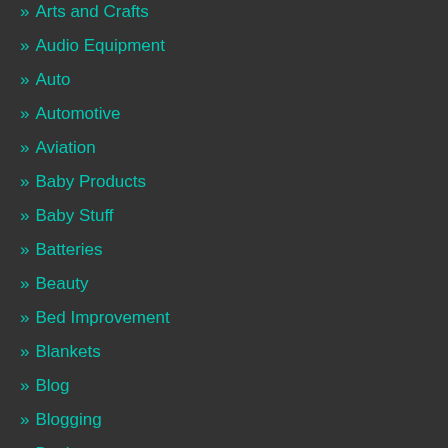» Arts and Crafts
» Audio Equipment
» Auto
» Automotive
» Aviation
» Baby Products
» Baby Stuff
» Batteries
» Beauty
» Bed Improvement
» Blankets
» Blog
» Blogging
» Books
» BUSINESS